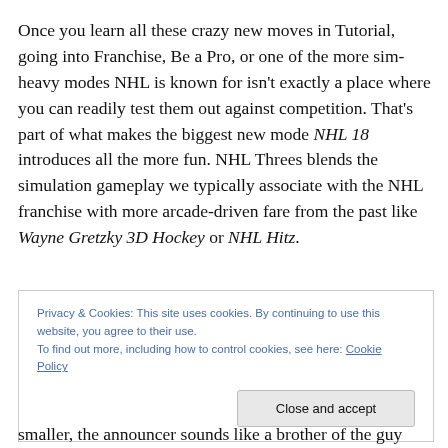Once you learn all these crazy new moves in Tutorial, going into Franchise, Be a Pro, or one of the more sim-heavy modes NHL is known for isn't exactly a place where you can readily test them out against competition. That's part of what makes the biggest new mode NHL 18 introduces all the more fun. NHL Threes blends the simulation gameplay we typically associate with the NHL franchise with more arcade-driven fare from the past like Wayne Gretzky 3D Hockey or NHL Hitz.
Privacy & Cookies: This site uses cookies. By continuing to use this website, you agree to their use. To find out more, including how to control cookies, see here: Cookie Policy
smaller, the announcer sounds like a brother of the guy